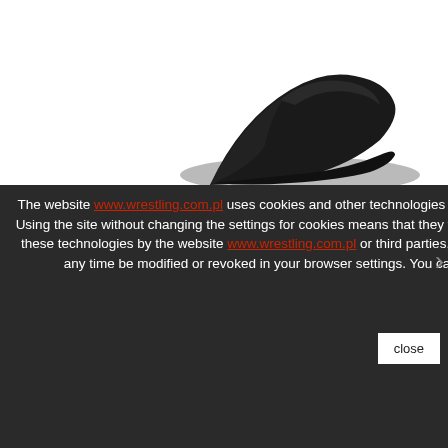[Figure (photo): Black wrestling shoe partially visible against white background, top portion of the page]
The website www.wrestling.com.pl uses cookies and other technologies for automatic data storage to ensure the highest quality of services. Using the site without changing the settings for cookies means that they will be placed on your end device. Consent expressed on the use of these technologies by the website www.wrestling.com.pl or third parties, for purposes related to the provision of electronic services, may at any time be modified or revoked in your browser settings. You can find more details about our cookie policy in privacy policy.